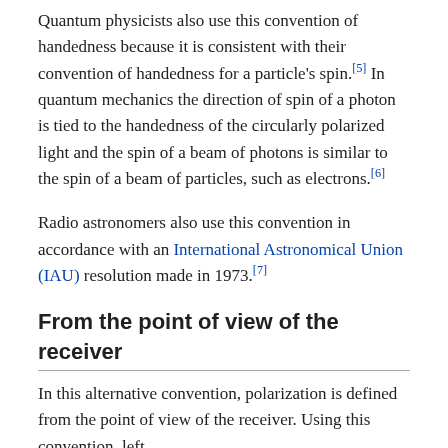Quantum physicists also use this convention of handedness because it is consistent with their convention of handedness for a particle's spin.[5] In quantum mechanics the direction of spin of a photon is tied to the handedness of the circularly polarized light and the spin of a beam of photons is similar to the spin of a beam of particles, such as electrons.[6]
Radio astronomers also use this convention in accordance with an International Astronomical Union (IAU) resolution made in 1973.[7]
From the point of view of the receiver
In this alternative convention, polarization is defined from the point of view of the receiver. Using this convention, left